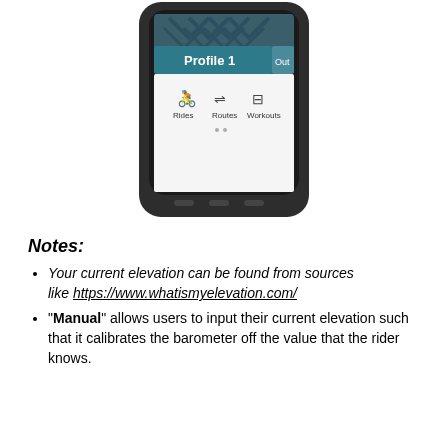[Figure (photo): A Garmin cycling GPS device shown from the top, displaying a screen with 'Profile 1' header in teal/dark blue, and three icons below for Rides, Routes, and Workouts. The device has a dark gray/black casing with buttons visible at the bottom.]
Notes:
Your current elevation can be found from sources like https://www.whatismyelevation.com/
"Manual" allows users to input their current elevation such that it calibrates the barometer off the value that the rider knows.